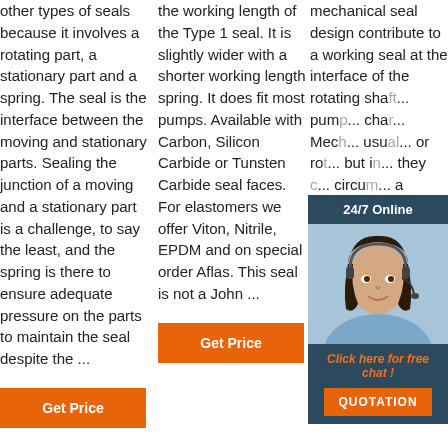other types of seals because it involves a rotating part, a stationary part and a spring. The seal is the interface between the moving and stationary parts. Sealing the junction of a moving and a stationary part is a challenge, to say the least, and the spring is there to ensure adequate pressure on the parts to maintain the seal despite the ...
the working length of the Type 1 seal. It is slightly wider with a shorter working length spring. It does fit most pumps. Available with Carbon, Silicon Carbide or Tunsten Carbide seal faces. For elastomers we offer Viton, Nitrile, EPDM and on special order Aflas. This seal is not a John ...
mechanical seal design contribute to a working seal at the interface of the rotating sha... pum... cha... Mec... usu... or ro... but i... they... circu... a hy... seals.
[Figure (infographic): Chat widget with '24/7 Online' header, photo of woman with headset, orange 'Click here for free chat!' text, and orange QUOTATION button]
Click here for free chat !
QUOTATION
[Figure (logo): TOP icon with orange dots arranged as arrow pointing up]